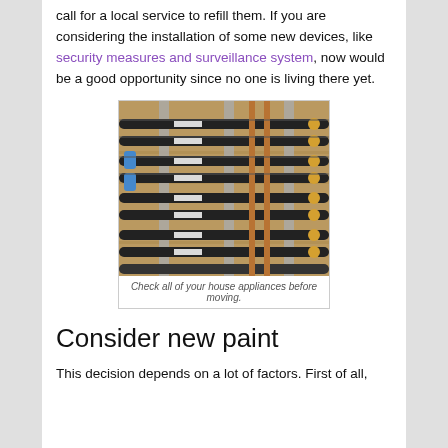call for a local service to refill them. If you are considering the installation of some new devices, like security measures and surveillance system, now would be a good opportunity since no one is living there yet.
[Figure (photo): Photograph of multiple black pipes/hoses mounted on a wall with metal brackets and brass fittings, likely plumbing or heating system components.]
Check all of your house appliances before moving.
Consider new paint
This decision depends on a lot of factors. First of all,